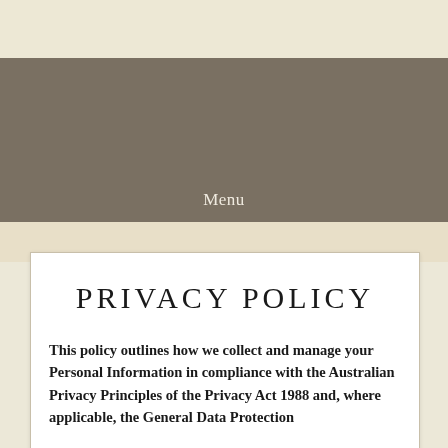Menu
PRIVACY POLICY
This policy outlines how we collect and manage your Personal Information in compliance with the Australian Privacy Principles of the Privacy Act 1988 and, where applicable, the General Data Protection